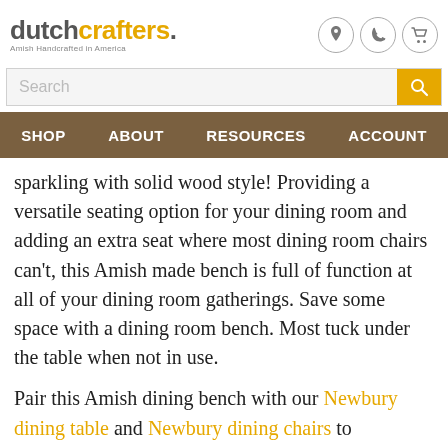dutchcrafters. Amish Handcrafted in America
sparkling with solid wood style!  Providing a versatile seating option for your dining room and adding an extra seat where most dining room chairs can't, this Amish made bench is full of function at all of your dining room gatherings. Save some space with a dining room bench. Most tuck under the table when not in use.
Pair this Amish dining bench with our Newbury dining table and Newbury dining chairs to